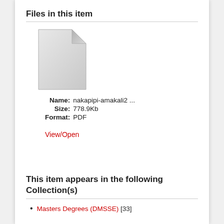Files in this item
[Figure (illustration): Generic document/file icon — a white page with folded top-right corner, light gray gradient shading]
| Name: | nakapipi-amakali2 ... |
| Size: | 778.9Kb |
| Format: | PDF |
View/Open
This item appears in the following Collection(s)
Masters Degrees (DMSSE) [33]